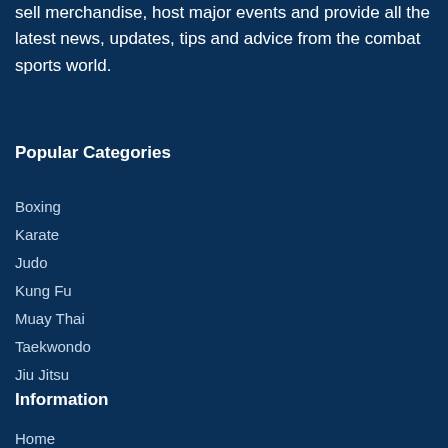sell merchandise, host major events and provide all the latest news, updates, tips and advice from the combat sports world.
Popular Categories
Boxing
Karate
Judo
Kung Fu
Muay Thai
Taekwondo
Jiu Jitsu
Information
Home